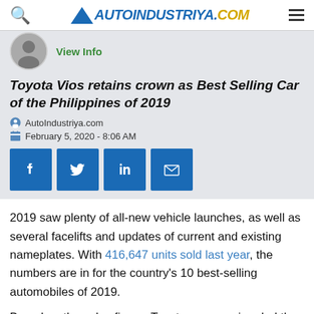AutoIndustriya.com
[Figure (photo): Author avatar circular photo, grayscale]
View Info
Toyota Vios retains crown as Best Selling Car of the Philippines of 2019
AutoIndustriya.com
February 5, 2020 - 8:06 AM
[Figure (other): Social share buttons: Facebook, Twitter, LinkedIn, Email]
2019 saw plenty of all-new vehicle launches, as well as several facelifts and updates of current and existing nameplates. With 416,647 units sold last year, the numbers are in for the country's 10 best-selling automobiles of 2019.
Based on the sales figure, Toyota once again ruled the